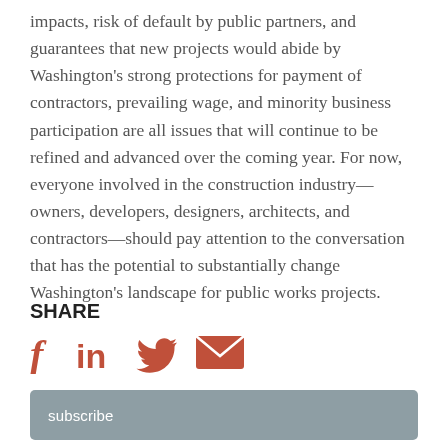impacts, risk of default by public partners, and guarantees that new projects would abide by Washington's strong protections for payment of contractors, prevailing wage, and minority business participation are all issues that will continue to be refined and advanced over the coming year. For now, everyone involved in the construction industry—owners, developers, designers, architects, and contractors—should pay attention to the conversation that has the potential to substantially change Washington's landscape for public works projects.
SHARE
[Figure (infographic): Social share icons: Facebook (f), LinkedIn (in), Twitter bird, Email envelope in terracotta/orange-red color, and a gray subscribe button below]